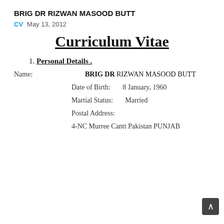BRIG DR RIZWAN MASOOD BUTT
CV   May 13, 2012
Curriculum Vitae
1. Personal Details .
Name:          BRIG DR RIZWAN MASOOD BUTT
Date of Birth:      8 January, 1960
Martial Status:      Married
Postal Address:
4-NC Murree Cantt Pakistan PUNJAB